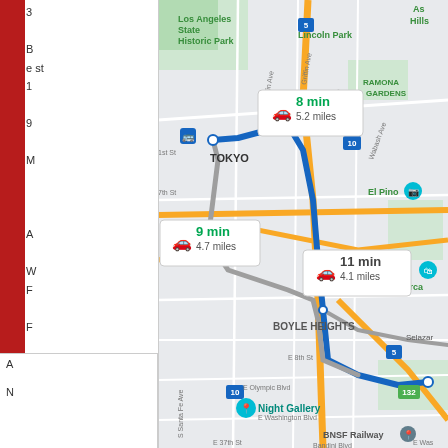[Figure (map): Google Maps screenshot showing driving routes between two locations in Los Angeles, CA. Three route options are displayed with callout boxes: Route 1: 8 min, 5.2 miles; Route 2: 9 min, 4.7 miles; Route 3: 11 min, 4.1 miles. The map shows areas including Los Angeles State Historic Park, Lincoln Park, Ramona Gardens, Boyle Heights, El Pino, El Merca, Night Gallery, and BNSF Railway. Major roads include I-5, I-10, Highway 132, E Olympic Blvd, E 8th St, E Washington Blvd, E 37th St, Bandini Blvd, Mateo St, 7th St, 1st St, Griffin Ave, Zonal Ave, Wabash Ave, S Santa Fe Ave.]